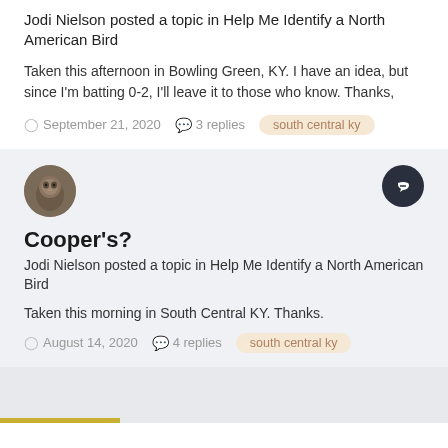Jodi Nielson posted a topic in Help Me Identify a North American Bird
Taken this afternoon in Bowling Green, KY. I have an idea, but since I'm batting 0-2, I'll leave it to those who know. Thanks,
September 21, 2020   3 replies   south central ky
[Figure (photo): Round avatar image of a bird, brown tones]
Cooper's?
Jodi Nielson posted a topic in Help Me Identify a North American Bird
Taken this morning in South Central KY. Thanks.
August 14, 2020   4 replies   south central ky